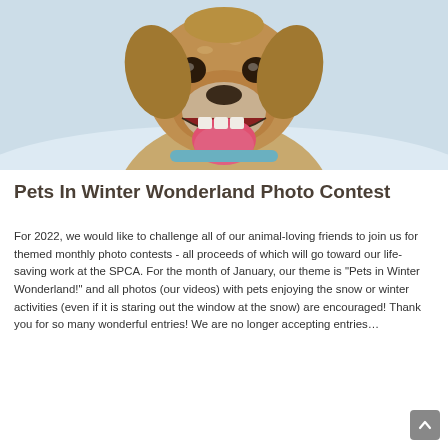[Figure (photo): Close-up photo of a happy golden/yellow Labrador dog with mouth open, tongue out, smiling at the camera, with a snowy light blue-white background. The dog is wearing a light blue collar.]
Pets In Winter Wonderland Photo Contest
For 2022, we would like to challenge all of our animal-loving friends to join us for themed monthly photo contests - all proceeds of which will go toward our life-saving work at the SPCA. For the month of January, our theme is "Pets in Winter Wonderland!" and all photos (our videos) with pets enjoying the snow or winter activities (even if it is staring out the window at the snow) are encouraged! Thank you for so many wonderful entries! We are no longer accepting entries…